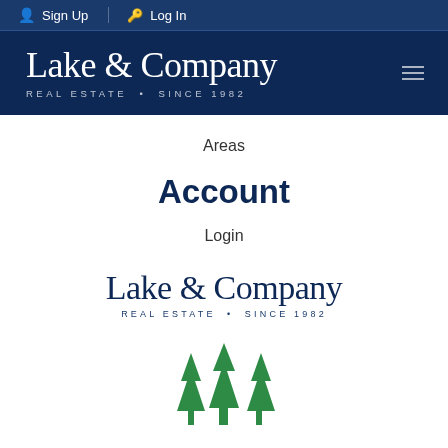Sign Up  Log In
[Figure (logo): Lake & Company Real Estate • Since 1982 logo in white text on dark navy background with hamburger menu icon]
Areas
Account
Login
[Figure (logo): Lake & Company Real Estate • Since 1982 logo in navy blue on white background]
[Figure (logo): Green stylized tree/arrow icon logo]